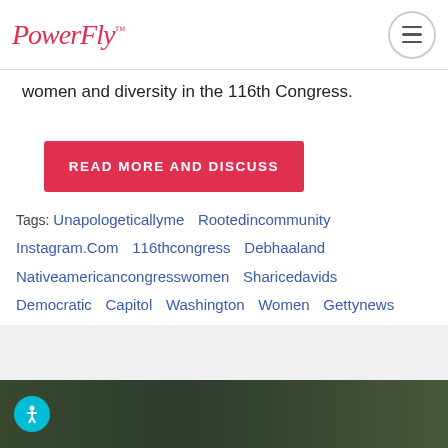PowerFly™
women and diversity in the 116th Congress.
READ MORE AND DISCUSS
Tags: Unapologeticallyme  Rootedincommunity  Instagram.Com  116thcongress  Debhaaland  Nativeamericancongresswomen  Sharicedavids  Democratic  Capitol  Washington  Women  Gettynews  Congresswomen  Thehouse
[Figure (infographic): Social sharing icons: Facebook, Twitter, LinkedIn, Tumblr, Pinterest, WhatsApp, Reddit, SMS]
[Figure (photo): Dark green/nature photo background at bottom of page with accessibility button]